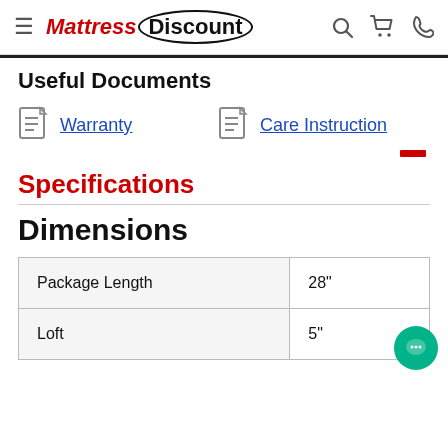Mattress Discount — navigation bar with hamburger menu, logo, search, cart, phone icons
Useful Documents
Warranty
Care Instruction
Specifications
Dimensions
|  |  |
| --- | --- |
| Package Length | 28" |
| Loft | 5" |